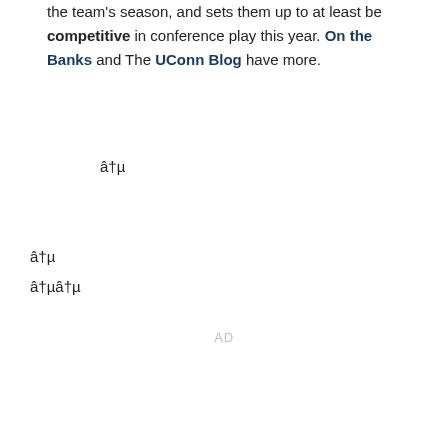the team's season, and sets them up to at least be competitive in conference play this year. On the Banks and The UConn Blog have more.
â†µ
â†µ
â†µâ†µ
AD